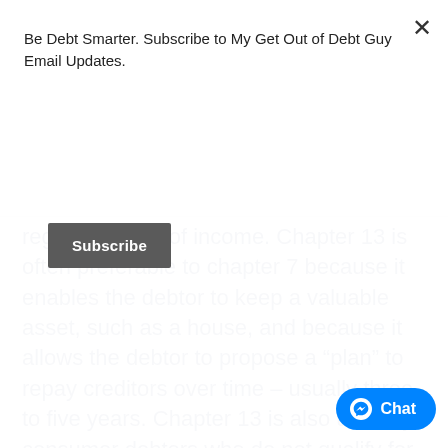Be Debt Smarter. Subscribe to My Get Out of Debt Guy Email Updates.
[Figure (other): Subscribe button (dark gray rectangular button with white bold text 'Subscribe')]
[Figure (other): Close (×) button in upper right corner of modal overlay]
regular source of income. Chapter 13 is often preferable to chapter 7 because it enables the debtor to keep a valuable asset, such as a house, and because it allows the debtor to propose a “plan” to repay creditors over time – usually three to five years. Chapter 13 is also used by consumer debtors who do not qualify for chapter 7 relief under the means t... confirmation hearing, the court eith... approves or disapproves the debtor’s
[Figure (other): Facebook Messenger Chat button (blue pill-shaped button with messenger icon and 'Chat' text) in bottom right corner]